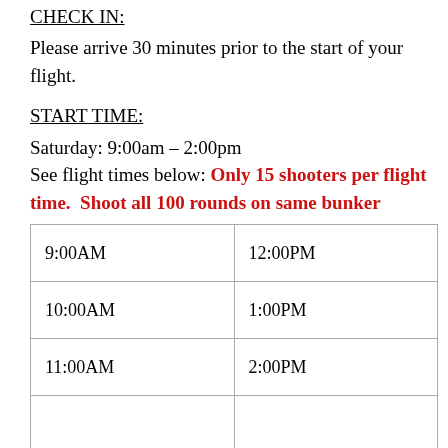CHECK IN:
Please arrive 30 minutes prior to the start of your flight.
START TIME:
Saturday: 9:00am – 2:00pm
See flight times below: Only 15 shooters per flight time. Shoot all 100 rounds on same bunker
| 9:00AM | 12:00PM |
| 10:00AM | 1:00PM |
| 11:00AM | 2:00PM |
|  |  |
Shooting time reservations will be assigned online. Any shooter registering by mail please list 3 timeslots of choice. Entries accepted on a first